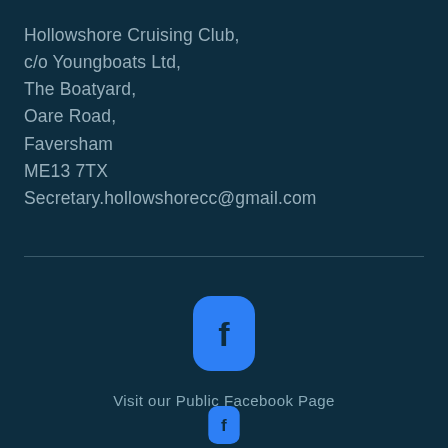Hollowshore Cruising Club,
c/o Youngboats Ltd,
The Boatyard,
Oare Road,
Faversham
ME13 7TX
Secretary.hollowshorecc@gmail.com
[Figure (logo): Facebook icon button (rounded rectangle, blue background with white Facebook 'f' logo)]
Visit our Public Facebook Page
[Figure (logo): Second Facebook icon button (rounded rectangle, blue background, partially visible at bottom)]